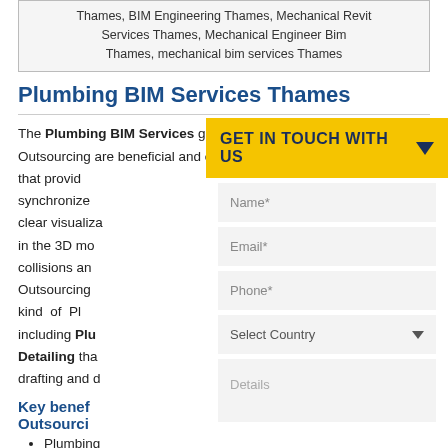Thames, BIM Engineering Thames, Mechanical Revit Services Thames, Mechanical Engineer Bim Thames, mechanical bim services Thames
Plumbing BIM Services Thames
The Plumbing BIM Services given by CAD Outsourcing are beneficial and cost effective that provide... synchronize... clear visualization... in the 3D mo... collisions an... Outsourcing... kind of Pl... including Plu... Detailing tha... drafting and d...
Key benefits of Outsourcing
Plumbing...